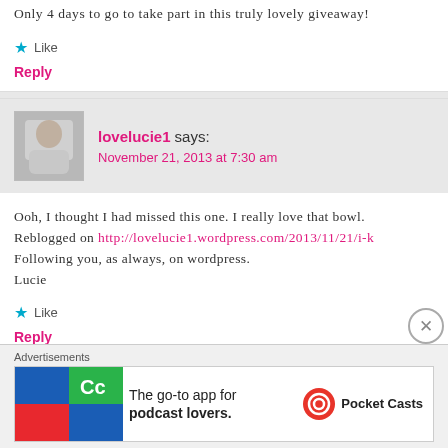Only 4 days to go to take part in this truly lovely giveaway!
Like
Reply
lovelucie1 says:
November 21, 2013 at 7:30 am
Ooh, I thought I had missed this one. I really love that bowl. Reblogged on http://lovelucie1.wordpress.com/2013/11/21/i-k Following you, as always, on wordpress. Lucie
Like
Reply
tinlue says:
Advertisements
[Figure (infographic): Pocket Casts podcast app advertisement banner with colorful logo tiles]